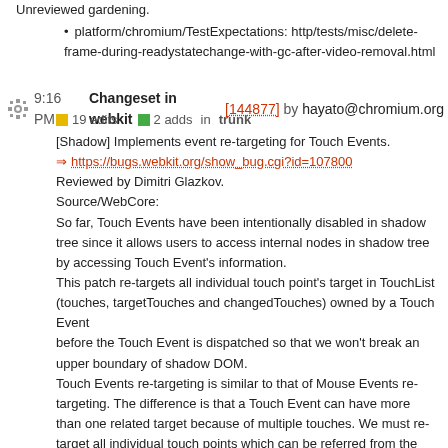Unreviewed gardening.
platform/chromium/TestExpectations: http/tests/misc/delete-frame-during-readystatechange-with-gc-after-video-removal.html
9:16 PM Changeset in webkit [144877] by hayato@chromium.org
19 edits   2 adds   in trunk
[Shadow] Implements event re-targeting for Touch Events.
=> https://bugs.webkit.org/show_bug.cgi?id=107800
Reviewed by Dimitri Glazkov.
Source/WebCore:
So far, Touch Events have been intentionally disabled in shadow tree since it allows users to access internal nodes in shadow tree by accessing Touch Event's information.
This patch re-targets all individual touch point's target in TouchList (touches, targetTouches and changedTouches) owned by a Touch Event
before the Touch Event is dispatched so that we won't break an upper boundary of shadow DOM.
Touch Events re-targeting is similar to that of Mouse Events re-targeting. The difference is that a Touch Event can have more than one related target because of multiple touches. We must re-target all individual touch points which can be referred from the Touch Event.
Now, Touch Events can be fired in shadow tree. I've removed the existing limitation.
Test: fast/dom/shadow/touch-event-retargeting.html